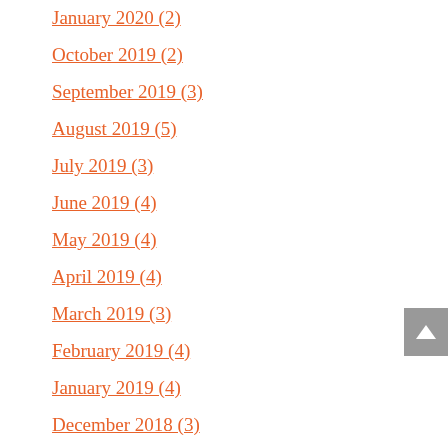January 2020 (2)
October 2019 (2)
September 2019 (3)
August 2019 (5)
July 2019 (3)
June 2019 (4)
May 2019 (4)
April 2019 (4)
March 2019 (3)
February 2019 (4)
January 2019 (4)
December 2018 (3)